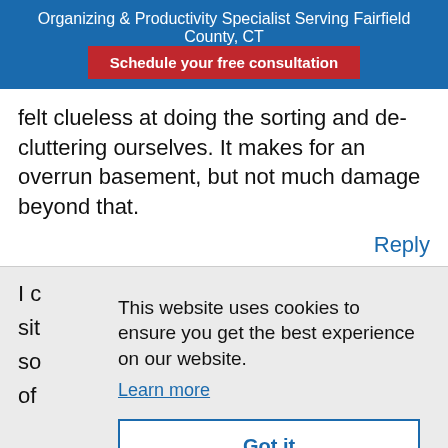Organizing & Productivity Specialist Serving Fairfield County, CT
Schedule your free consultation
felt clueless at doing the sorting and de-cluttering ourselves. It makes for an overrun basement, but not much damage beyond that.
Reply
This website uses cookies to ensure you get the best experience on our website.
Learn more
Got it
I c
sit
so
of